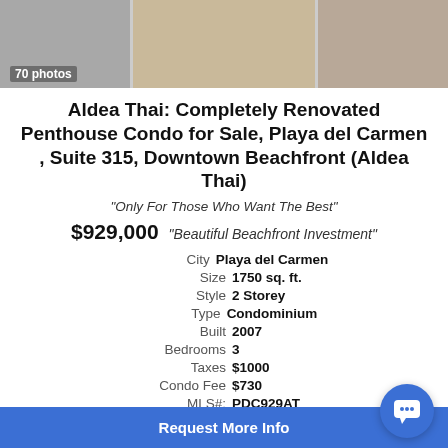[Figure (photo): Photo collage of property with 70 photos label in bottom left]
Aldea Thai: Completely Renovated Penthouse Condo for Sale, Playa del Carmen , Suite 315, Downtown Beachfront (Aldea Thai)
"Only For Those Who Want The Best"
$929,000   "Beautiful Beachfront Investment"
City  Playa del Carmen
Size  1750 sq. ft.
Style  2 Storey
Type  Condominium
Built  2007
Bedrooms  3
Taxes  $1000
Condo Fee  $730
MLS#:  PDC929AT
Request More Info